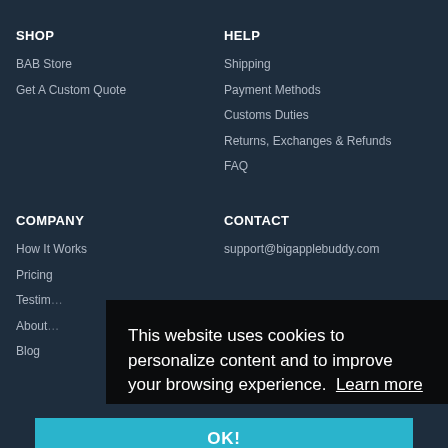SHOP
BAB Store
Get A Custom Quote
HELP
Shipping
Payment Methods
Customs Duties
Returns, Exchanges & Refunds
FAQ
COMPANY
How It Works
Pricing
Testim…
About…
Blog
CONTACT
support@bigapplebuddy.com
This website uses cookies to personalize content and to improve your browsing experience. Learn more
OK!